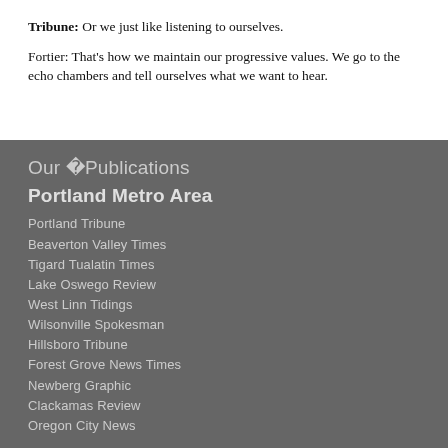Tribune: Or we just like listening to ourselves.
Fortier: That's how we maintain our progressive values. We go to the echo chambers and tell ourselves what we want to hear.
Our �Publications
Portland Metro Area
Portland Tribune
Beaverton Valley Times
Tigard Tualatin Times
Lake Oswego Review
West Linn Tidings
Wilsonville Spokesman
Hillsboro Tribune
Forest Grove News Times
Newberg Graphic
Clackamas Review
Oregon City News